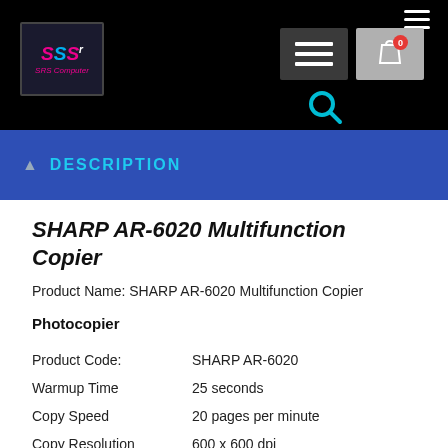[Figure (logo): SRS Computer logo with pink/blue styling on dark background]
Navigation header with hamburger menu, cart button showing 0 items, and search icon
DESCRIPTION
SHARP AR-6020 Multifunction Copier
Product Name: SHARP AR-6020 Multifunction Copier
Photocopier
| Attribute | Value |
| --- | --- |
| Product Code: | SHARP AR-6020 |
| Warmup Time | 25 seconds |
| Copy Speed | 20 pages per minute |
| Copy Resolution | 600 x 600 dpi |